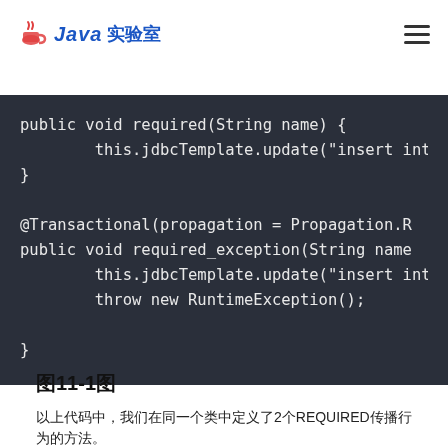Java实验室
[Figure (screenshot): Dark-background code block showing Java methods: public void required(String name) with this.jdbcTemplate.update("insert into ...") and @Transactional(propagation = Propagation.R...) public void required_exception(String name...) with this.jdbcTemplate.update("insert into ..."), throw new RuntimeException(); and closing brace]
图1​1-1​图
以上代码中，我们在同一个类中定义了2个REQUIRED传播行为的方法。